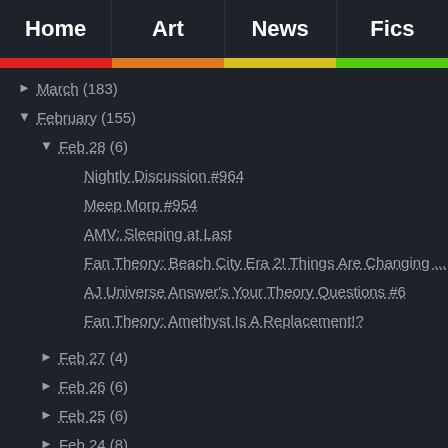Home | Art | News | Fics
► March (183)
▼ February (155)
▼ Feb 28 (6)
Nightly Discussion #964
Meep Morp #954
AMV: Sleeping at Last
Fan Theory: Beach City Era 2! Things Are Changing ...
AJ Universe Answer's Your Theory Questions #6
Fan Theory: Amethyst Is A Replacement!?
► Feb 27 (4)
► Feb 26 (6)
► Feb 25 (6)
► Feb 24 (8)
► Feb 22 (6)
► Feb 20 (6)
► Feb 19 (6)
► Feb 18 (6)